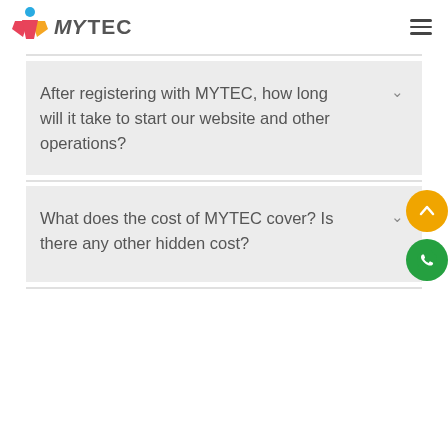MYTEC
After registering with MYTEC, how long will it take to start our website and other operations?
What does the cost of MYTEC cover? Is there any other hidden cost?